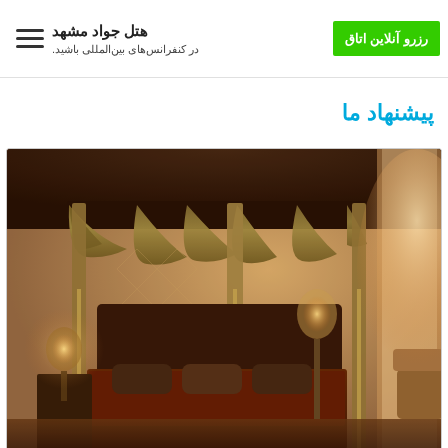هتل جواد مشهد / رزرو آنلاین اتاق
در کنفرانس‌های بین‌المللی باشید.
پیشنهاد ما
[Figure (photo): Luxury hotel room with ornate four-poster canopy bed with gold/olive drapery, decorative wallpaper, warm lighting, and elegant furnishings]